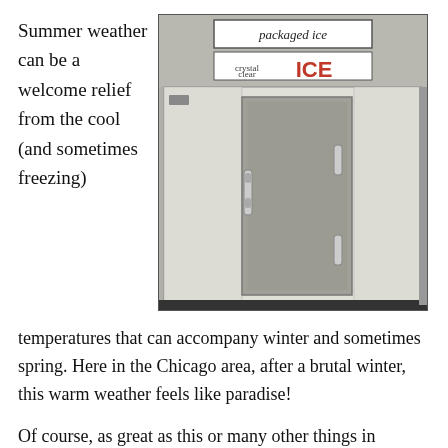Summer weather can be a welcome relief from the cool (and sometimes freezing)
[Figure (photo): A large white packaged ice freezer/cooler unit with a metal door, labeled 'packaged ice' and 'crystal clear ICE' at the top.]
temperatures that can accompany winter and sometimes spring. Here in the Chicago area, after a brutal winter, this warm weather feels like paradise!
Of course, as great as this or many other things in